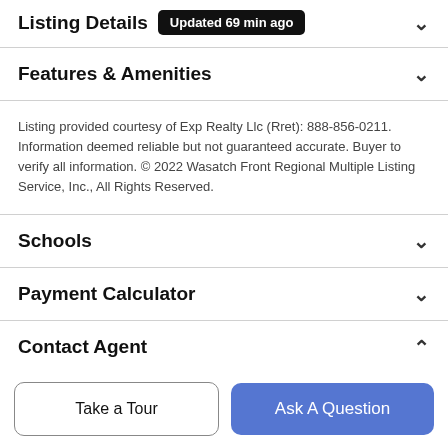Listing Details — Updated 69 min ago
Features & Amenities
Listing provided courtesy of Exp Realty Llc (Rret): 888-856-0211. Information deemed reliable but not guaranteed accurate. Buyer to verify all information. © 2022 Wasatch Front Regional Multiple Listing Service, Inc., All Rights Reserved.
Schools
Payment Calculator
Contact Agent
Take a Tour
Ask A Question